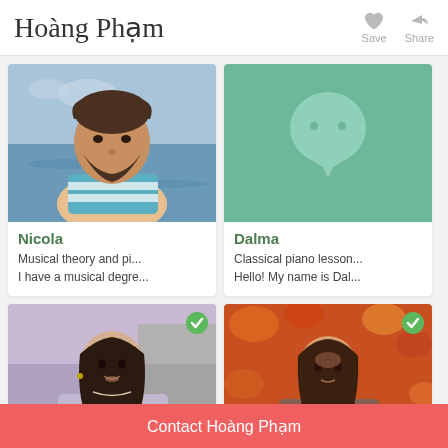Hoàng Phạm
[Figure (screenshot): Save button with heart icon]
[Figure (screenshot): Share button with arrow icon]
[Figure (photo): Photo of Nicola - man with beard near water]
Nicola
Musical theory and pi...
I have a musical degre...
[Figure (illustration): Dalma - green placeholder avatar with chat bubble icon]
Dalma
Classical piano lesson...
Hello! My name is Dal...
[Figure (photo): Photo of young woman with dark hair smiling, green checkmark badge]
[Figure (photo): Photo of young woman with autumn leaves background, green checkmark badge]
Contact Hoàng Phạm